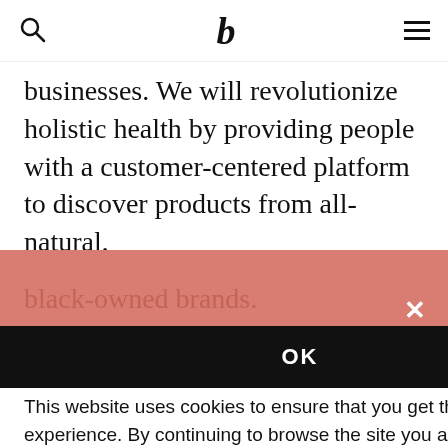b (logo) — search icon — hamburger menu
businesses. We will revolutionize holistic health by providing people with a customer-centered platform to discover products from all-natural, black-owned brands.
black-owned brands.
Who is the BLK + GRN customer?
is
This website uses cookies to ensure that you get the best experience. By continuing to browse the site you are agreeing to our use of cookies.  Learn More
OK
through partnering with influencers and creating